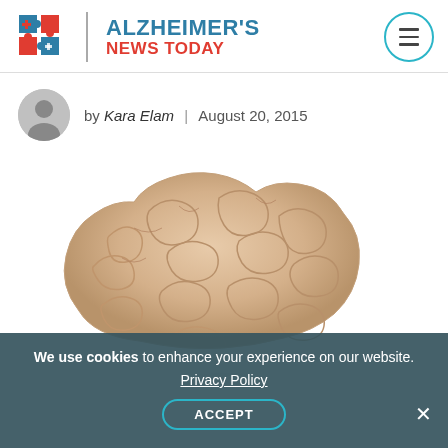[Figure (logo): Alzheimer's News Today logo with brain puzzle-piece icon, site name in teal and red]
by Kara Elam | August 20, 2015
[Figure (photo): Photograph of a human brain, side view, on a white background]
We use cookies to enhance your experience on our website. Privacy Policy ACCEPT